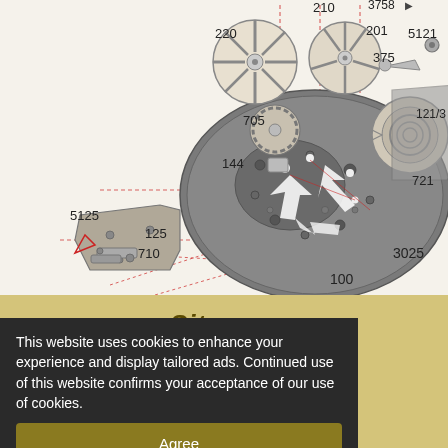[Figure (engineering-diagram): Exploded schematic diagram of a mechanical watch movement (caliber 3025). Parts are labeled with numbers: 210, 220, 201, 3758, 375, 5121, 121/3, 721, 705, 144, 5125, 125, 710, 100, 3025. The central element is the mainplate (100), surrounded by gears (220, 201, 210), a ratchet wheel (705), various levers and springs. Red dashed lines indicate assembly relationships. White arrows inside the mainplate indicate positioning.]
Sitemap
This website uses cookies to enhance your experience and display tailored ads. Continued use of this website confirms your acceptance of our use of cookies.
Agree